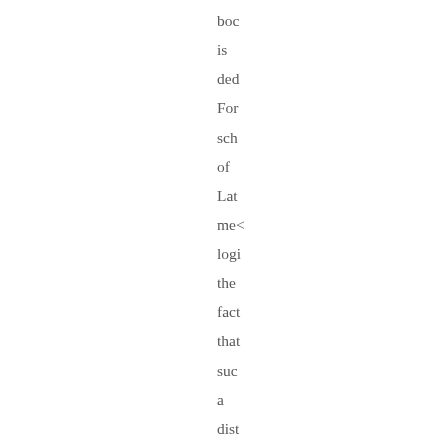boo is ded For sch of Lat me logi the fact that suc a dist exp in con phi and ling bec inte